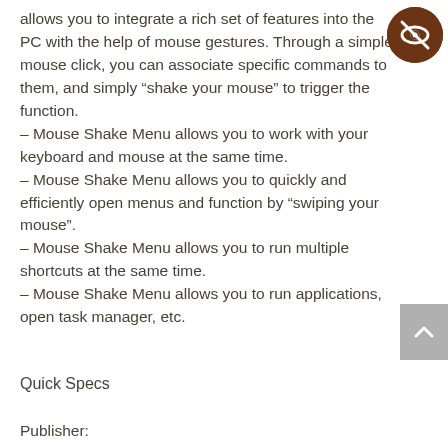allows you to integrate a rich set of features into the PC with the help of mouse gestures. Through a simple mouse click, you can associate specific commands to them, and simply “shake your mouse” to trigger the function.
– Mouse Shake Menu allows you to work with your keyboard and mouse at the same time.
– Mouse Shake Menu allows you to quickly and efficiently open menus and function by “swiping your mouse”.
– Mouse Shake Menu allows you to run multiple shortcuts at the same time.
– Mouse Shake Menu allows you to run applications, open task manager, etc.
[Figure (logo): Dark brown circular badge with a crossed-out eye icon in the center]
[Figure (other): Gray scroll-to-top button with upward chevron arrow]
Quick Specs
Publisher: